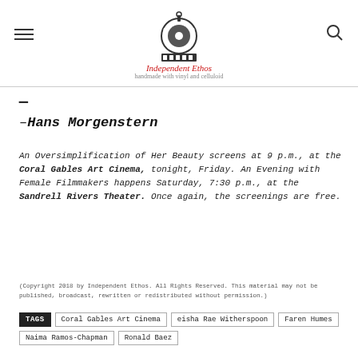Independent Ethos — handmade with vinyl and celluloid
–Hans Morgenstern
An Oversimplification of Her Beauty screens at 9 p.m., at the Coral Gables Art Cinema, tonight, Friday. An Evening with Female Filmmakers happens Saturday, 7:30 p.m., at the Sandrell Rivers Theater. Once again, the screenings are free.
(Copyright 2018 by Independent Ethos. All Rights Reserved. This material may not be published, broadcast, rewritten or redistributed without permission.)
TAGS Coral Gables Art Cinema eisha Rae Witherspoon Faren Humes Naima Ramos-Chapman Ronald Baez